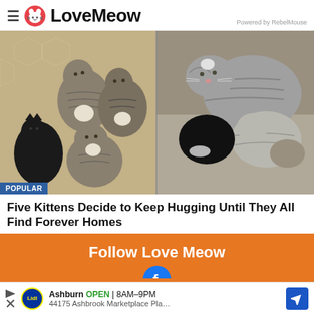LoveMeow — Powered by RebelMouse
[Figure (photo): Two side-by-side photos of five kittens hugging each other. Left photo shows four tabby/black kittens looking at camera on a carpet. Right photo shows the kittens cuddled together sleeping.]
POPULAR
Five Kittens Decide to Keep Hugging Until They All Find Forever Homes
Follow Love Meow
Ashburn OPEN | 8AM–9PM 44175 Ashbrook Marketplace Pla…